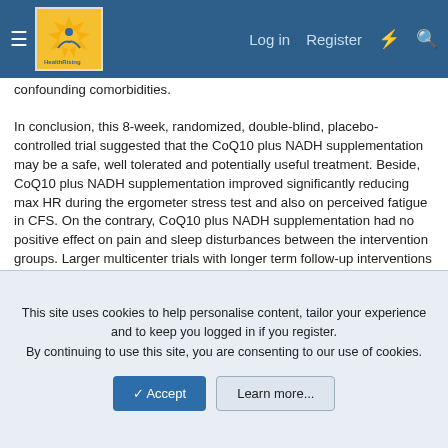HealthRising [logo] Log in  Register [icons]
confounding comorbidities.
In conclusion, this 8-week, randomized, double-blind, placebo-controlled trial suggested that the CoQ10 plus NADH supplementation may be a safe, well tolerated and potentially useful treatment. Beside, CoQ10 plus NADH supplementation improved significantly reducing max HR during the ergometer stress test and also on perceived fatigue in CFS. On the contrary, CoQ10 plus NADH supplementation had no positive effect on pain and sleep disturbances between the intervention groups. Larger multicenter trials with longer term follow-up interventions in more homogenous CFS populations are warranted to assess these findings and to produce evidence-based guidelines regarding the potential benefits of antioxidant therapy in CFS and other chronic conditions.
This site uses cookies to help personalise content, tailor your experience and to keep you logged in if you register.
By continuing to use this site, you are consenting to our use of cookies.